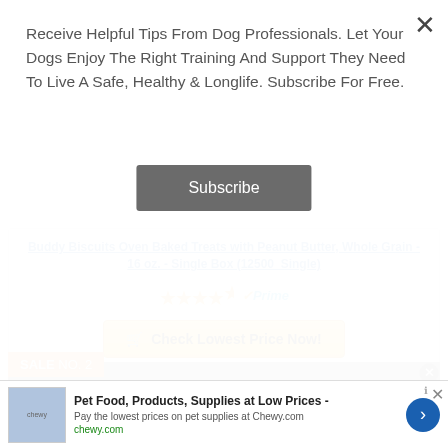Receive Helpful Tips From Dog Professionals. Let Your Dogs Enjoy The Right Training And Support They Need To Live A Safe, Healthy & Longlife. Subscribe For Free.
Subscribe
Buddy Biscuits Oven Baked Treats with Peanut Butter, Whole Grain - 16 oz. - Single Box (12500_Single)
[Figure (other): Star rating (4.5 stars) and Amazon Prime badge]
Check Lowest Price Now!
SALE NO. 2
No compatible source was found for this
Pet Food, Products, Supplies at Low Prices -
Pay the lowest prices on pet supplies at Chewy.com
chewy.com